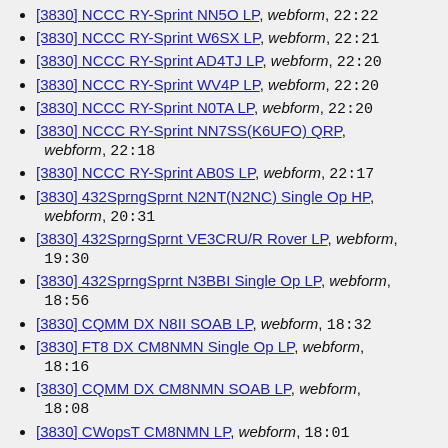[3830] NCCC RY-Sprint NN5O LP, webform, 22:22
[3830] NCCC RY-Sprint W6SX LP, webform, 22:21
[3830] NCCC RY-Sprint AD4TJ LP, webform, 22:20
[3830] NCCC RY-Sprint WV4P LP, webform, 22:20
[3830] NCCC RY-Sprint N0TA LP, webform, 22:20
[3830] NCCC RY-Sprint NN7SS(K6UFO) QRP, webform, 22:18
[3830] NCCC RY-Sprint AB0S LP, webform, 22:17
[3830] 432SprngSprnt N2NT(N2NC) Single Op HP, webform, 20:31
[3830] 432SprngSprnt VE3CRU/R Rover LP, webform, 19:30
[3830] 432SprngSprnt N3BBI Single Op LP, webform, 18:56
[3830] CQMM DX N8II SOAB LP, webform, 18:32
[3830] FT8 DX CM8NMN Single Op LP, webform, 18:16
[3830] CQMM DX CM8NMN SOAB LP, webform, 18:08
[3830] CWopsT CM8NMN LP, webform, 18:01
[3830] CWopsT CM8NMN LP, webform, 17:58
[3830] 432SprngSprnt WA4NJP Single Op HP, webform, 17:49
[3830] OnQP VE3OSZ SO CW LP, webform, 17:23
[3830] CWopsT W8BG LP, webform, 17:19